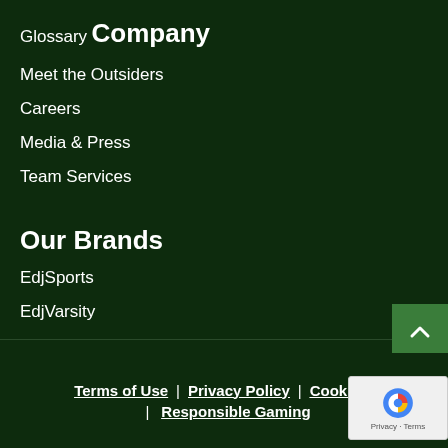Glossary
Company
Meet the Outsiders
Careers
Media & Press
Team Services
Our Brands
EdjSports
EdjVarsity
Terms of Use | Privacy Policy | Cookie P... | Responsible Gaming